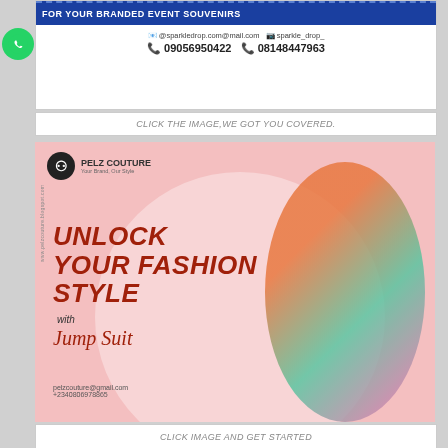[Figure (infographic): Sparkledrop branded event souvenirs advertisement banner with contact info: @sparkledrop.com@mail.com, sparkle_drop_, 09056950422, 08148447963]
CLICK THE IMAGE,WE GOT YOU COVERED.
[Figure (infographic): Pelz Couture fashion advertisement with pink background, model wearing colorful jumpsuit, text: UNLOCK YOUR FASHION STYLE with Jump Suit, pelzcouture@gmail.com, +2340806978865]
CLICK IMAGE AND GET STARTED